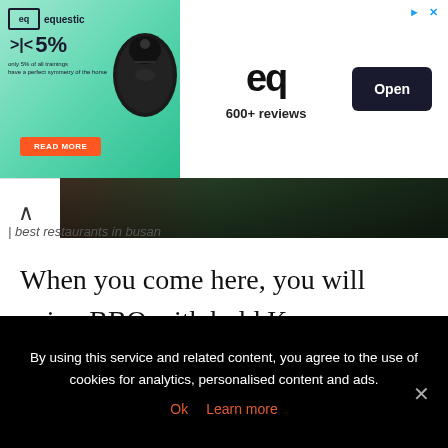[Figure (screenshot): Advertisement banner for 'equestic' brand featuring a gaming mouse, 5% statistic, 600+ reviews, and an Open button]
[Figure (photo): Dark food/nature image strip at the top of the article]
| best restaurants in busan
When you come here, you will enjoy BBQ with bold Korean culinary culture. It is not only aromatic, delicious, greasy but also full of nutrients if you eat it with herbs and sauces. Many tourists visiting the restaurant have to say that they have never eaten such
By using this service and related content, you agree to the use of cookies for analytics, personalised content and ads.
Ok   Learn more